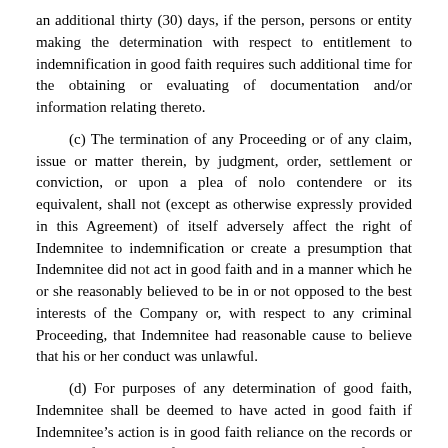an additional thirty (30) days, if the person, persons or entity making the determination with respect to entitlement to indemnification in good faith requires such additional time for the obtaining or evaluating of documentation and/or information relating thereto.
(c) The termination of any Proceeding or of any claim, issue or matter therein, by judgment, order, settlement or conviction, or upon a plea of nolo contendere or its equivalent, shall not (except as otherwise expressly provided in this Agreement) of itself adversely affect the right of Indemnitee to indemnification or create a presumption that Indemnitee did not act in good faith and in a manner which he or she reasonably believed to be in or not opposed to the best interests of the Company or, with respect to any criminal Proceeding, that Indemnitee had reasonable cause to believe that his or her conduct was unlawful.
(d) For purposes of any determination of good faith, Indemnitee shall be deemed to have acted in good faith if Indemnitee’s action is in good faith reliance on the records or books of account of any Enterprise, including financial statements, or on information supplied to Indemnitee by the officers of such Enterprise in the course of their duties, or on the advice of legal counsel for such Enterprise or on information or records given or reports made to such Enterprise by an independent certified public accountant or by an appraiser or other expert selected by such Enterprise. The provisions of this Section 5.03(d) shall not be deemed to be exclusive or to limit in any way the